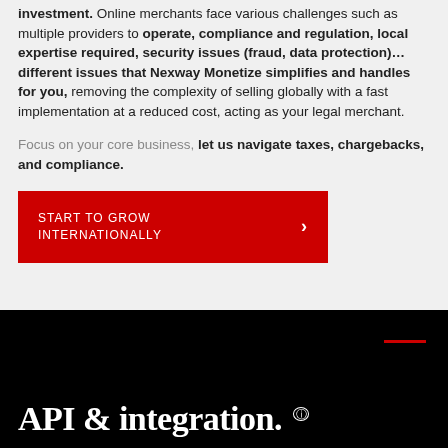investment. Online merchants face various challenges such as multiple providers to operate, compliance and regulation, local expertise required, security issues (fraud, data protection)… different issues that Nexway Monetize simplifies and handles for you, removing the complexity of selling globally with a fast implementation at a reduced cost, acting as your legal merchant.
Focus on your core business, let us navigate taxes, chargebacks, and compliance.
START TO GROW INTERNATIONALLY ›
API & integration.